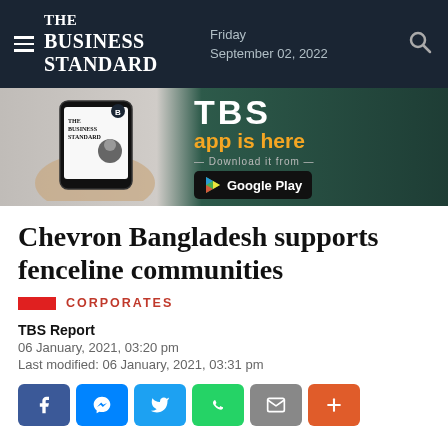The Business Standard — Friday September 02, 2022
[Figure (infographic): TBS app advertisement banner showing a hand holding a phone with The Business Standard app, with text 'TBS app is here — Download it from — Google Play']
Chevron Bangladesh supports fenceline communities
CORPORATES
TBS Report
06 January, 2021, 03:20 pm
Last modified: 06 January, 2021, 03:31 pm